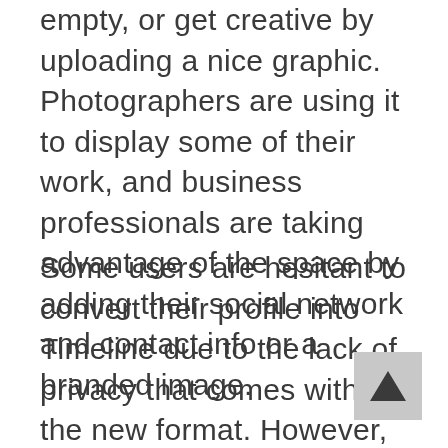empty, or get creative by uploading a nice graphic. Photographers are using it to display some of their work, and business professionals are taking advantage of the space by adding their social network and contact info or a branded image.
Some users are hesitant to convert their profile into Timeline due to the lack of privacy that comes with the new format. However, Facebook has allowed users to customize their privacy settings [almost] as much they want. With a few adjustments,